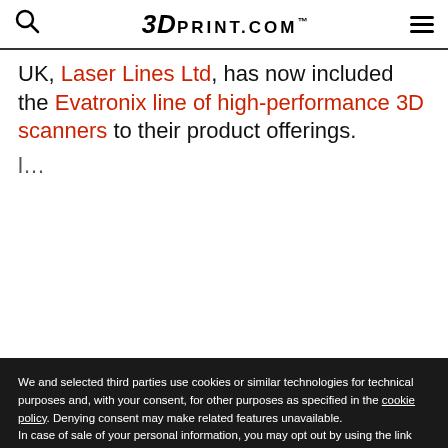3DPRINT.COM™
UK, Laser Lines Ltd, has now included the Evatronix line of high-performance 3D scanners to their product offerings.
We and selected third parties use cookies or similar technologies for technical purposes and, with your consent, for other purposes as specified in the cookie policy. Denying consent may make related features unavailable.
In case of sale of your personal information, you may opt out by using the link "Do Not Sell My Personal Information".
To find out more about the categories of personal information collected and the purposes for which such information will be used, please refer to our privacy policy.
You can consent to the use of such technologies by using the "Accept" button, by scrolling this page, by interacting with any link or button outside of this notice or by continuing to browse otherwise.
Reject | Accept
Learn more and customize